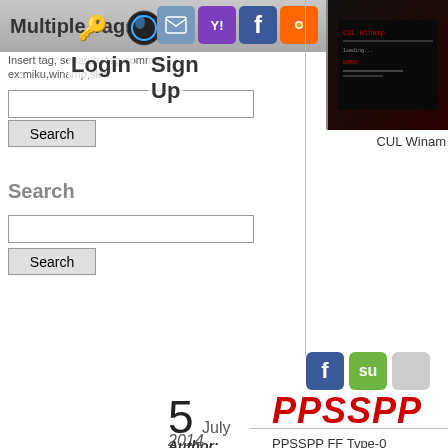Multiple Tags
Login
Sign
Up
Insert tag, separate tag comma
ex:miku,winamp,skin
Search
Search
[Figure (screenshot): Dark terminal/UI screenshot thumbnail labeled CUL Winam]
CUL Winam
[Figure (infographic): Social share icons: Facebook, StumbleUpon, and another icon]
5 July 2014
PPSSPP
PPSSPP FF Type-0
very swesome game
Author: